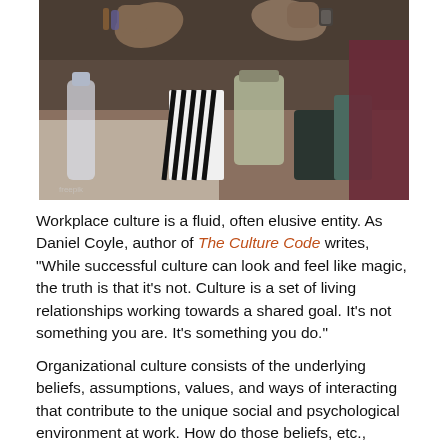[Figure (photo): Overhead photo of people fist-bumping over a table with various items including a striped bag, glass jar, and desk accessories]
Workplace culture is a fluid, often elusive entity. As Daniel Coyle, author of The Culture Code writes, “While successful culture can look and feel like magic, the truth is that it’s not. Culture is a set of living relationships working towards a shared goal. It’s not something you are. It’s something you do.”
Organizational culture consists of the underlying beliefs, assumptions, values, and ways of interacting that contribute to the unique social and psychological environment at work. How do those beliefs, etc.,